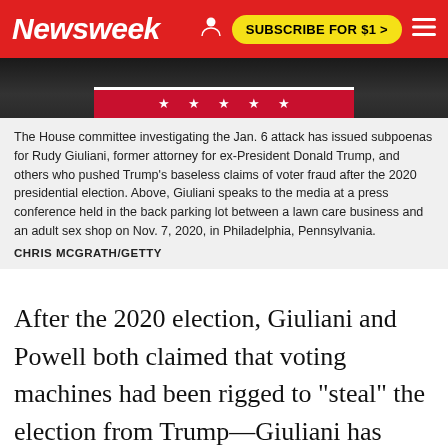Newsweek  SUBSCRIBE FOR $1 >
[Figure (photo): Bottom portion of a photo showing a red podium or banner with stars, dark background, person visible at right edge]
The House committee investigating the Jan. 6 attack has issued subpoenas for Rudy Giuliani, former attorney for ex-President Donald Trump, and others who pushed Trump's baseless claims of voter fraud after the 2020 presidential election. Above, Giuliani speaks to the media at a press conference held in the back parking lot between a lawn care business and an adult sex shop on Nov. 7, 2020, in Philadelphia, Pennsylvania. CHRIS MCGRATH/GETTY
After the 2020 election, Giuliani and Powell both claimed that voting machines had been rigged to "steal" the election from Trump—Giuliani has since said he didn't have time to make sure the claims were true. He and Powell